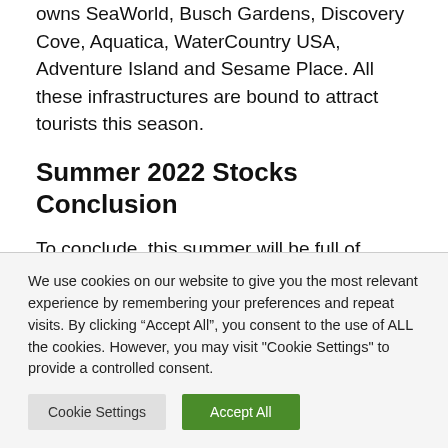owns SeaWorld, Busch Gardens, Discovery Cove, Aquatica, WaterCountry USA, Adventure Island and Sesame Place. All these infrastructures are bound to attract tourists this season.
Summer 2022 Stocks Conclusion
To conclude, this summer will be full of entertainment at home and abroad. Businesses will capitalize on the return to “normality” and consumers will be happy to hear that. Despite the
We use cookies on our website to give you the most relevant experience by remembering your preferences and repeat visits. By clicking “Accept All”, you consent to the use of ALL the cookies. However, you may visit "Cookie Settings" to provide a controlled consent.